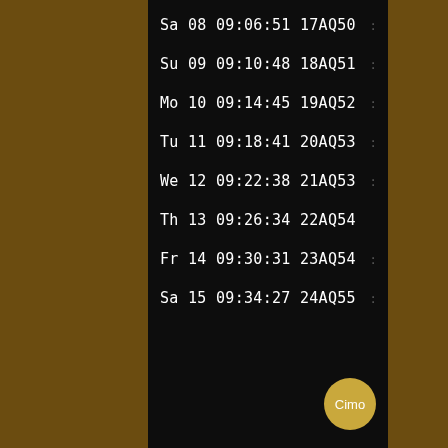Sa 08 09:06:51 17AQ50
Su 09 09:10:48 18AQ51
Mo 10 09:14:45 19AQ52
Tu 11 09:18:41 20AQ53
We 12 09:22:38 21AQ53
Th 13 09:26:34 22AQ54
Fr 14 09:30:31 23AQ54
Sa 15 09:34:27 24AQ55